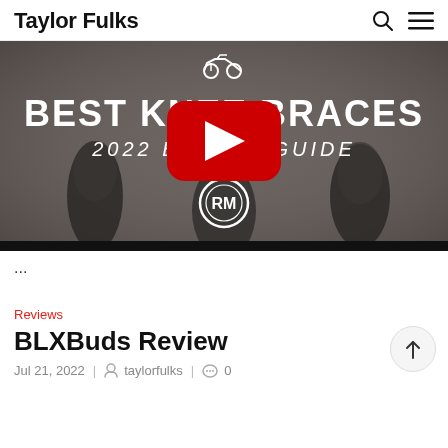Taylor Fulks
[Figure (screenshot): YouTube video thumbnail showing three motocross knee braces on a gray background with text 'BEST KNEE BRACES 2022 BUYING GUIDE' and a large YouTube play button in the center, plus a motorcycle silhouette at top and an RM circular logo at bottom center.]
...
Reviews
BLXBuds Review
Jul 21, 2022  |  taylorfulks  |  0